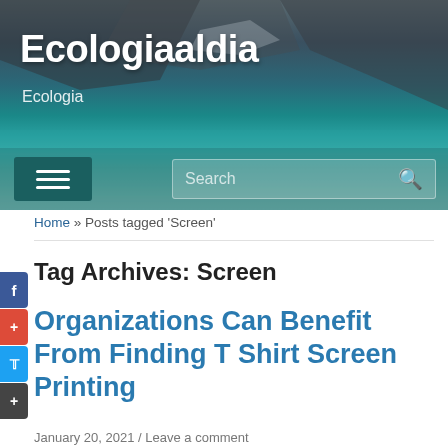[Figure (photo): Website header banner with rocky coastal landscape and turquoise water background]
Ecologiaaldia
Ecologia
≡  Search 🔍
Home » Posts tagged 'Screen'
Tag Archives: Screen
Organizations Can Benefit From Finding T Shirt Screen Printing
January 20, 2021 / Leave a comment